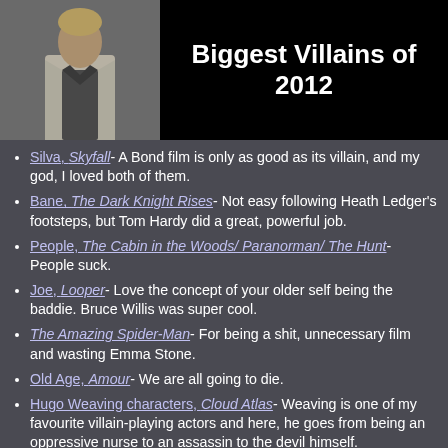[Figure (photo): Photo of a man in a light-colored suit with dark shirt, blonde hair, appearing to be a movie villain character (Silva from Skyfall)]
Biggest Villains of 2012
Silva, Skyfall- A Bond film is only as good as its villain, and my god, I loved both of them.
Bane, The Dark Knight Rises- Not easy following Heath Ledger's footsteps, but Tom Hardy did a great, powerful job.
People, The Cabin in the Woods/ Paranorman/ The Hunt- People suck.
Joe, Looper- Love the concept of your older self being the baddie. Bruce Willis was super cool.
The Amazing Spider-Man- For being a shit, unnecessary film and wasting Emma Stone.
Old Age, Amour- We are all going to die.
Hugo Weaving characters, Cloud Atlas- Weaving is one of my favourite villain-playing actors and here, he goes from being an oppressive nurse to an assassin to the devil himself.